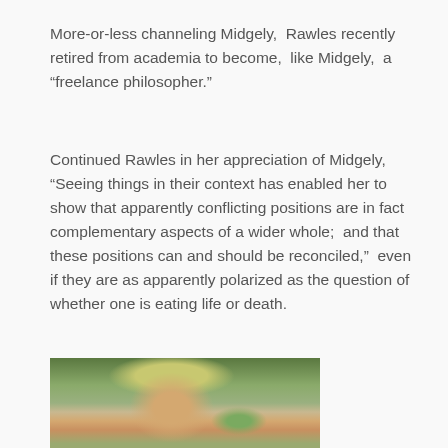More-or-less channeling Midgely,  Rawles recently retired from academia to become,  like Midgely,  a “freelance philosopher.”
Continued Rawles in her appreciation of Midgely,  “Seeing things in their context has enabled her to show that apparently conflicting positions are in fact complementary aspects of a wider whole;  and that these positions can and should be reconciled,”  even if they are as apparently polarized as the question of whether one is eating life or death.
[Figure (photo): Photograph of a woman with shoulder-length blonde hair, outdoors with green foliage visible in the background.]